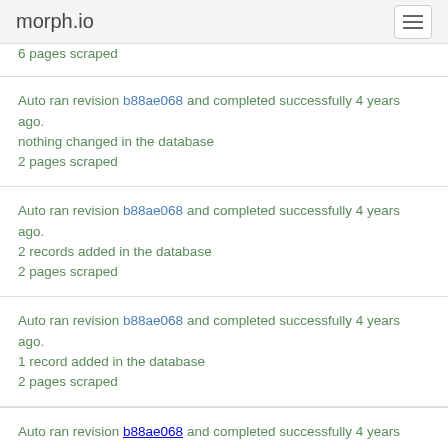morph.io
6 pages scraped
Auto ran revision b88ae068 and completed successfully 4 years ago.
nothing changed in the database
2 pages scraped
Auto ran revision b88ae068 and completed successfully 4 years ago.
2 records added in the database
2 pages scraped
Auto ran revision b88ae068 and completed successfully 4 years ago.
1 record added in the database
2 pages scraped
Auto ran revision b88ae068 and completed successfully 4 years ago.
4 records added in the database